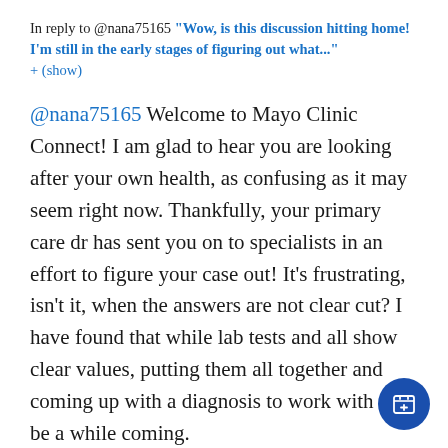In reply to @nana75165 "Wow, is this discussion hitting home! I'm still in the early stages of figuring out what..." + (show)
@nana75165 Welcome to Mayo Clinic Connect! I am glad to hear you are looking after your own health, as confusing as it may seem right now. Thankfully, your primary care dr has sent you on to specialists in an effort to figure your case out! It's frustrating, isn't it, when the answers are not clear cut? I have found that while lab tests and all show clear values, putting them all together and coming up with a diagnosis to work with can be a while coming.

The idea of journaling is useful not only